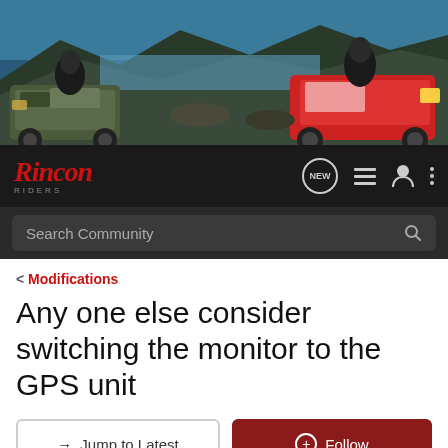[Figure (photo): Hero banner image showing ATV/quad bikes on rocky mountainous terrain with a lake or water body in the background. Two ATVs visible, one camouflage-colored on the left, one red and white on the right.]
Rincon RIDERS - navigation bar with NEW button, hamburger menu, user icon, and more options icon. Search Community search bar.
< Modifications
Any one else consider switching the monitor to the GPS unit
→ Jump to Latest
+ Follow
1 - 4 of 4 Posts